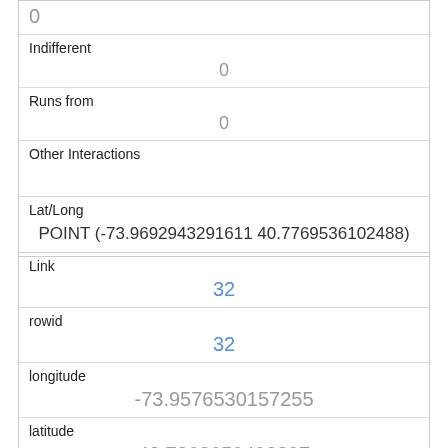| 0 |
| Indifferent | 0 |
| Runs from | 0 |
| Other Interactions |  |
| Lat/Long | POINT (-73.9692943291611 40.7769536102488) |
| Link | 32 |
| rowid | 32 |
| longitude | -73.9576530157255 |
| latitude | 40.7868659490397 |
| Unique Squirrel ID | 29I-PM-1007-01 |
| Hectare |  |